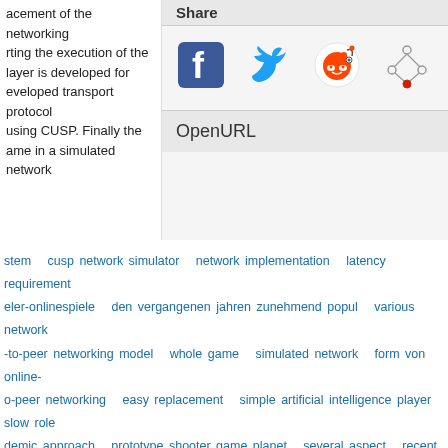acement of the networking rting the execution of the layer is developed for eveloped transport protocol using CUSP. Finally the ame in a simulated network
Share
[Figure (other): Social sharing icons: Facebook, Twitter, Reddit, and a network/share icon]
OpenURL
stem  cusp network simulator  network implementation  latency requirement  eler-onlinespiele  den vergangenen jahren zunehmend popul  various network  -to-peer networking model  whole game  simulated network  form von online-  o-peer networking  easy replacement  simple artificial intelligence player  slow role  demic approach  prototype shooter game planet  several aspect  recent year
[Figure (logo): Apache Solr logo with sunburst icon and text 'Solr']
cy Policy  Help  Data  Source  Contact Us
of Information Sciences and Technology
lvania State University